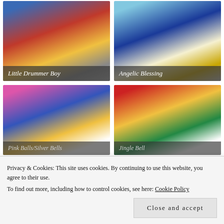[Figure (photo): Christmas ornament wreath labeled 'Little Drummer Boy' — colorful baubles in red, blue, gold on grey background]
Little Drummer Boy
[Figure (photo): Christmas ornament wreath labeled 'Angelic Blessing' — blue, gold, silver baubles with angelic figure]
Angelic Blessing
[Figure (photo): Christmas wreath with pink, blue, gold ornaments, watermarked 'Glamour Vintage Christmas for Bedlam MCG', labeled 'Pink Balls/Silver Bells']
Pink Balls/Silver Bells
[Figure (photo): Christmas wreath with Santa Claus figure, red and green ornaments, watermarked 'Glamour Vintage Christmas for Bedlam MCG', labeled 'Jingle Bell']
Jingle Bell
Privacy & Cookies: This site uses cookies. By continuing to use this website, you agree to their use.
To find out more, including how to control cookies, see here: Cookie Policy
Close and accept